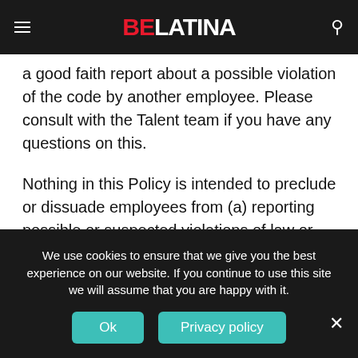BELatina
a good faith report about a possible violation of the code by another employee. Please consult with the Talent team if you have any questions on this.
Nothing in this Policy is intended to preclude or dissuade employees from (a) reporting possible or suspected violations of law or regulation to any governmental agency or entity, cooperating with any such agency in an investigation, or making other legally protected disclosures; or (b) engaging in any other legally protected activity, including but not limited to, activities protected under
We use cookies to ensure that we give you the best experience on our website. If you continue to use this site we will assume that you are happy with it.